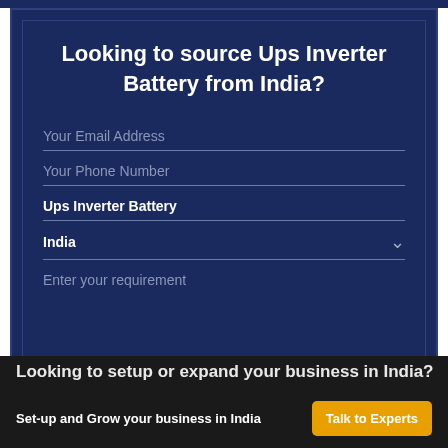Looking to source Ups Inverter Battery from India?
Your Email Address
Your Phone Number
Ups Inverter Battery
India
Enter your requirement
Looking to setup or expand your business in India?
Set-up and Grow your business in India
Talk to Experts